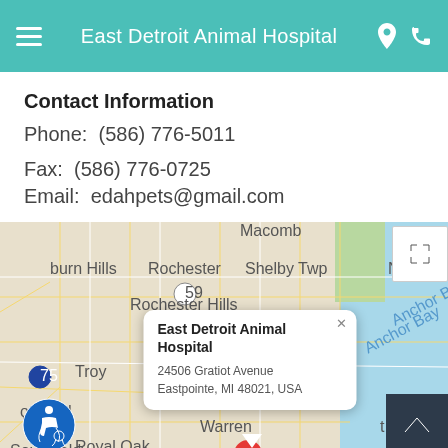East Detroit Animal Hospital
Contact Information
Phone:   (586) 776-5011
Fax:   (586) 776-0725
Email:   edahpets@gmail.com
[Figure (map): Google Map showing East Detroit Animal Hospital location at 24506 Gratiot Avenue, Eastpointe, MI 48021, USA with a popup info window and red location pin. Shows surrounding areas: Macomb, Rochester, Shelby Twp, New Baltimore, Anchor Bay, Rochester Hills, Troy, Bloomfield Hills, Royal Oak, Warren, St. Clair Shores, Southfield. Route markers visible: 59, 75.]